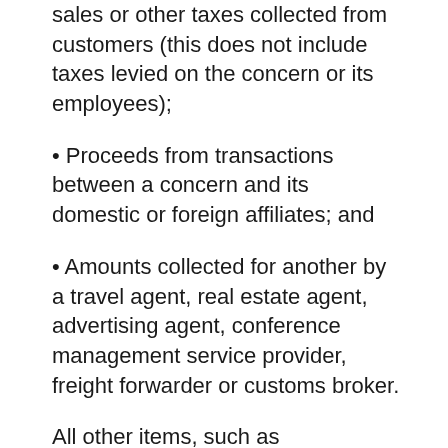sales or other taxes collected from customers (this does not include taxes levied on the concern or its employees);
Proceeds from transactions between a concern and its domestic or foreign affiliates; and
Amounts collected for another by a travel agent, real estate agent, advertising agent, conference management service provider, freight forwarder or customs broker.
All other items, such as subcontractor costs, reimbursements for purchases a